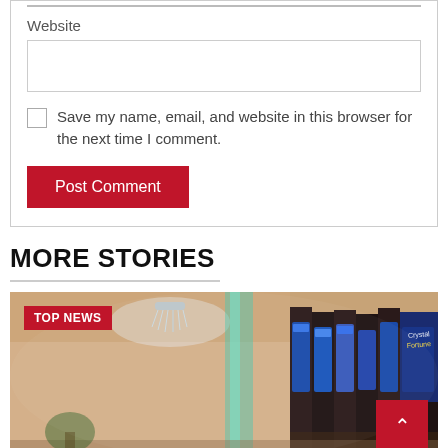Website
Save my name, email, and website in this browser for the next time I comment.
Post Comment
MORE STORIES
[Figure (photo): Casino slot machines in a row inside a casino with chandeliers and decorative lights in the background. A red 'TOP NEWS' badge is overlaid in the top left corner.]